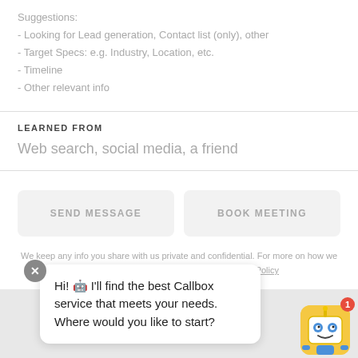Suggestions:
- Looking for Lead generation, Contact list (only), other
- Target Specs: e.g. Industry, Location, etc.
- Timeline
- Other relevant info
LEARNED FROM
Web search, social media, a friend
SEND MESSAGE
BOOK MEETING
We keep any info you share with us private and confidential. For more on how we process d... acy Policy
Hi! 🤖 I'll find the best Callbox service that meets your needs. Where would you like to start?